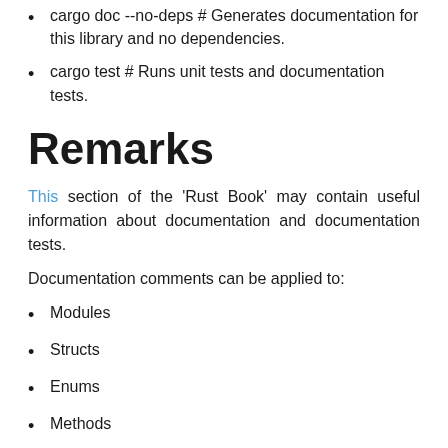cargo doc --no-deps # Generates documentation for this library and no dependencies.
cargo test # Runs unit tests and documentation tests.
Remarks
This section of the 'Rust Book' may contain useful information about documentation and documentation tests.
Documentation comments can be applied to:
Modules
Structs
Enums
Methods
Functions